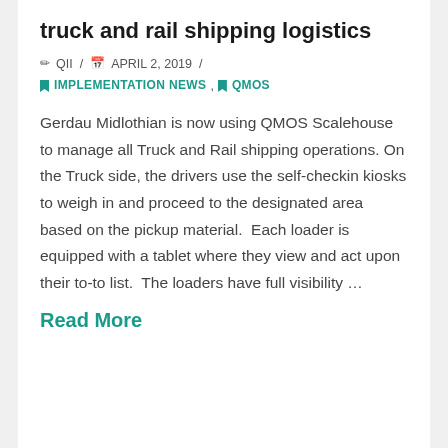truck and rail shipping logistics
✏ QII / 📅 APRIL 2, 2019 / 🔖 IMPLEMENTATION NEWS, 🔖 QMOS
Gerdau Midlothian is now using QMOS Scalehouse to manage all Truck and Rail shipping operations. On the Truck side, the drivers use the self-checkin kiosks to weigh in and proceed to the designated area based on the pickup material.  Each loader is equipped with a tablet where they view and act upon their to-to list.  The loaders have full visibility …
Read More